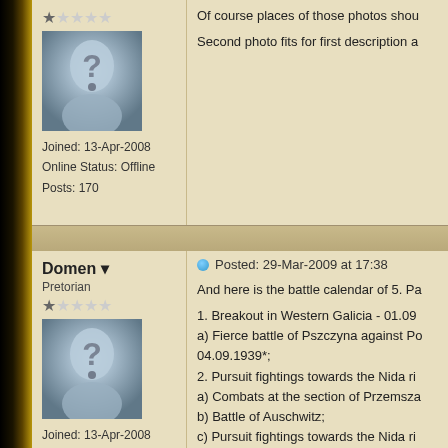Of course places of those photos shou
Second photo fits for first description a
Joined: 13-Apr-2008
Online Status: Offline
Posts: 170
Domen
Pretorian
Joined: 13-Apr-2008
Online Status: Offline
Posts: 170
Posted: 29-Mar-2009 at 17:38
And here is the battle calendar of 5. Pa
1. Breakout in Western Galicia - 01.09
a) Fierce battle of Pszczyna against Po 04.09.1939*;
2. Pursuit fightings towards the Nida ri
a) Combats at the section of Przemsza
b) Battle of Auschwitz;
c) Pursuit fightings towards the Nida ri
d) Battle of the Nida river and forcing t
3. Encircling battle south of Radom - 0
a) Combats against Polish 22. Infantry